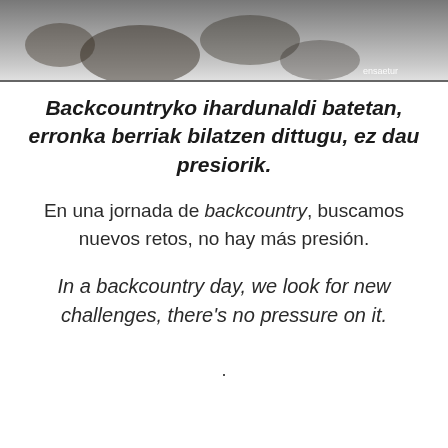[Figure (photo): Partial view of a snowy backcountry scene, appearing to show a skier or mountaineer in snow, with a watermark reading 'ensaetur' at bottom right]
Backcountryko ihardunaldi batetan, erronka berriak bilatzen dittugu, ez dau presiorik.
En una jornada de backcountry, buscamos nuevos retos, no hay más presión.
In a backcountry day, we look for new challenges, there's no pressure on it.
.